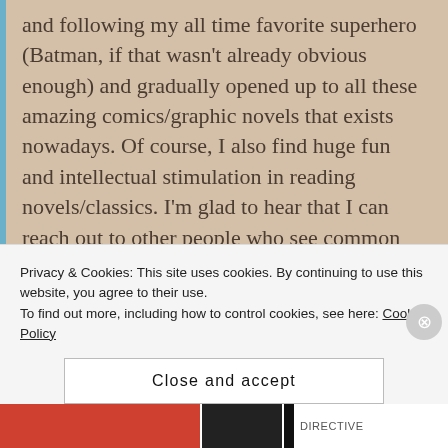and following my all time favorite superhero (Batman, if that wasn't already obvious enough) and gradually opened up to all these amazing comics/graphic novels that exists nowadays. Of course, I also find huge fun and intellectual stimulation in reading novels/classics. I'm glad to hear that I can reach out to other people who see common interests as me! Boy, when it comes to Saga, I so feel you on the sharing/not sharing dilemma. It's so amazing, you just don't want other people to love it as much as you do but
Privacy & Cookies: This site uses cookies. By continuing to use this website, you agree to their use.
To find out more, including how to control cookies, see here: Cookie Policy
Close and accept